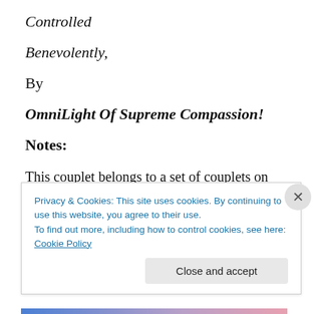Controlled
Benevolently,
By
OmniLight Of Supreme Compassion!
Notes:
This couplet belongs to a set of couplets on the five types of cosmic designer-governors: creators, protectors, controllers, concealers, and revealers. All these five types
Privacy & Cookies: This site uses cookies. By continuing to use this website, you agree to their use.
To find out more, including how to control cookies, see here: Cookie Policy
Close and accept